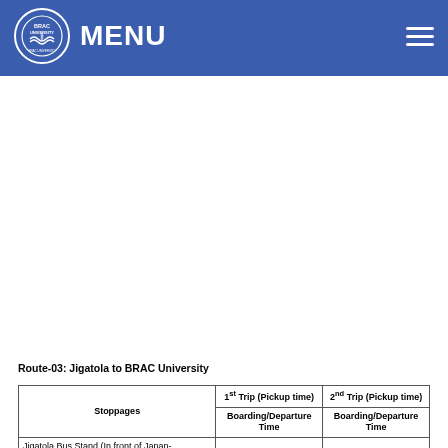MENU
Route-03: Jigatola to BRAC University
| Stoppages | 1st Trip (Pickup time) Boarding/Departure Time | 2nd Trip (Pickup time) Boarding/Departure Time |
| --- | --- | --- |
| Jigatola Bus Stand (In front of Japan-Bangladesh Friendship Hospital) | 6.40 AM | 9.10 AM |